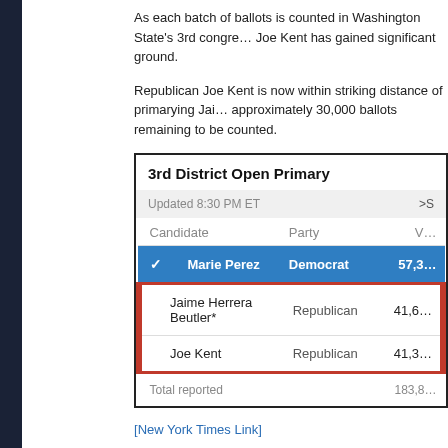As each batch of ballots is counted in Washington State's 3rd congressional district, Joe Kent has gained significant ground.
Republican Joe Kent is now within striking distance of primarying Jaime Herrera Beutler, with approximately 30,000 ballots remaining to be counted.
| Candidate | Party | Votes |
| --- | --- | --- |
| ✓ Marie Perez | Democrat | 57,3… |
| Jaime Herrera Beutler* | Republican | 41,6… |
| Joe Kent | Republican | 41,3… |
| Total reported |  | 183,8… |
[New York Times Link]